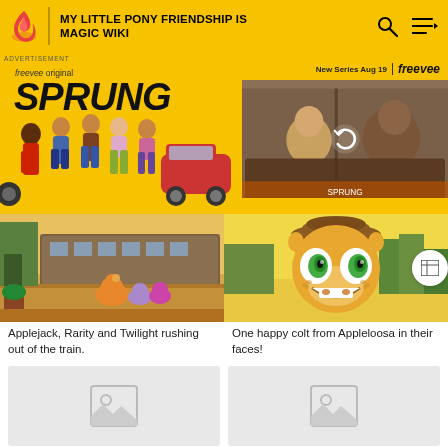MY LITTLE PONY FRIENDSHIP IS MAGIC WIKI
[Figure (screenshot): Advertisement banner for Freevee Original series 'SPRUNG' showing cast members on yellow background with video thumbnail on the right]
[Figure (screenshot): Applejack, Rarity and Twilight rushing out of the train - animated MLP scene]
[Figure (screenshot): One happy colt from Appleloosa in their faces - animated MLP character with cowboy hat]
Applejack, Rarity and Twilight rushing out of the train.
One happy colt from Appleloosa in their faces!
[Figure (photo): Placeholder image card (bottom left)]
[Figure (photo): Placeholder image card (bottom right)]